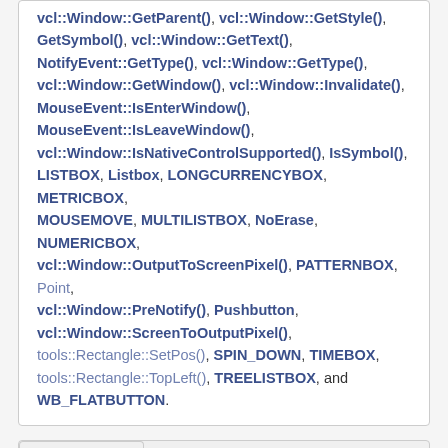vcl::Window::GetParent(), vcl::Window::GetStyle(), GetSymbol(), vcl::Window::GetText(), NotifyEvent::GetType(), vcl::Window::GetType(), vcl::Window::GetWindow(), vcl::Window::Invalidate(), MouseEvent::IsEnterWindow(), MouseEvent::IsLeaveWindow(), vcl::Window::IsNativeControlSupported(), IsSymbol(), LISTBOX, Listbox, LONGCURRENCYBOX, METRICBOX, MOUSEMOVE, MULTILISTBOX, NoErase, NUMERICBOX, vcl::Window::OutputToScreenPixel(), PATTERNBOX, Point, vcl::Window::PreNotify(), Pushbutton, vcl::Window::ScreenToOutputPixel(), tools::Rectangle::SetPos(), SPIN_DOWN, TIMEBOX, tools::Rectangle::TopLeft(), TREELISTBOX, and WB_FLATBUTTON.
Resize()
void PushButton::Resize ( )   override virtual